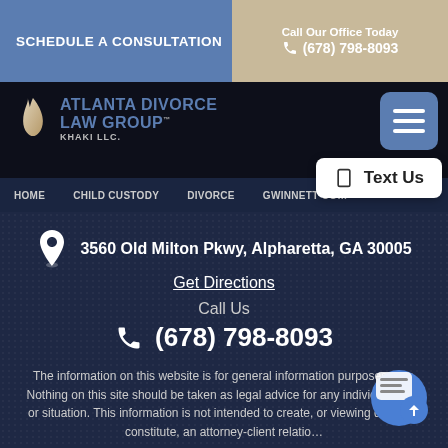SCHEDULE A CONSULTATION
Call Our Office Today
(678) 798-8093
[Figure (logo): Atlanta Divorce Law Group - Khaki LLC logo with flame icon]
HOME  CHILD CUSTODY  DIVORCE  GWINNETT CO...
Text Us
3560 Old Milton Pkwy, Alpharetta, GA 30005
Get Directions
Call Us
(678) 798-8093
The information on this website is for general information purposes only. Nothing on this site should be taken as legal advice for any individual case or situation. This information is not intended to create, and receipt or viewing does not constitute, an attorney-client relatio...